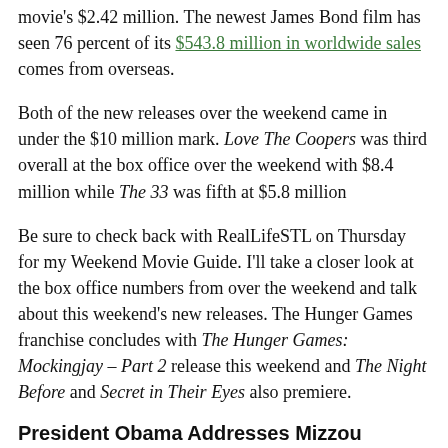movie's $2.42 million. The newest James Bond film has seen 76 percent of its $543.8 million in worldwide sales comes from overseas.
Both of the new releases over the weekend came in under the $10 million mark. Love The Coopers was third overall at the box office over the weekend with $8.4 million while The 33 was fifth at $5.8 million
Be sure to check back with RealLifeSTL on Thursday for my Weekend Movie Guide. I'll take a closer look at the box office numbers from over the weekend and talk about this weekend's new releases. The Hunger Games franchise concludes with The Hunger Games: Mockingjay – Part 2 release this weekend and The Night Before and Secret in Their Eyes also premiere.
President Obama Addresses Mizzou Protests
[Figure (photo): Image strip showing two photos side by side at the bottom of the page, with a red badge label on the left photo.]